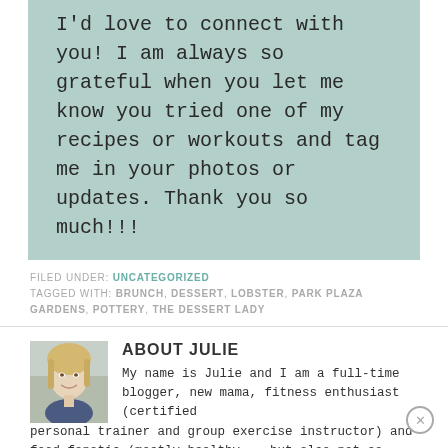I'd love to connect with you! I am always so grateful when you let me know you tried one of my recipes or workouts and tag me in your photos or updates. Thank you so much!!!
FILED UNDER: UNCATEGORIZED
TAGGED WITH: BRUNCH, DESSERT, LOBSTER, PARK PLAZA GARDENS, POTTERY, THE DESSERT LADY
ABOUT JULIE
[Figure (photo): Headshot photo of a smiling blonde woman]
My name is Julie and I am a full-time blogger, new mama, fitness enthusiast (certified personal trainer and group exercise instructor) and food fanatic (mostly healthy... but also not-so-healthy) living in North Carolina with my husband, dog and baby boy. Thank you for visiting Peanut Butter Fingers! I hope you enjoy little glimpses into my life and have fun trying the sweaty workouts I frequently share and making some of my favorite recipes along the way!